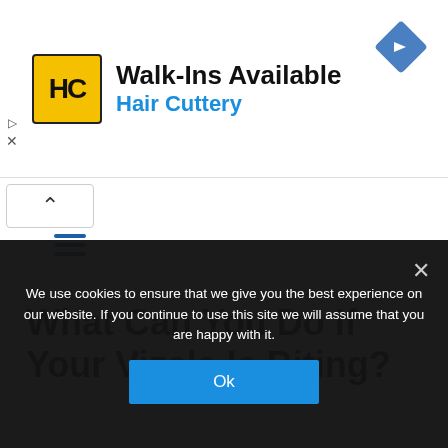[Figure (logo): Hair Cuttery advertisement banner with HC yellow logo, text 'Walk-Ins Available' and 'Hair Cuttery' in blue, blue navigation diamond icon on right]
[Figure (screenshot): Navigation bar with collapse/up arrow button and hamburger menu icon in blue]
What Can You Do If Your Vizsla Is Biting?
We use cookies to ensure that we give you the best experience on our website. If you continue to use this site we will assume that you are happy with it.